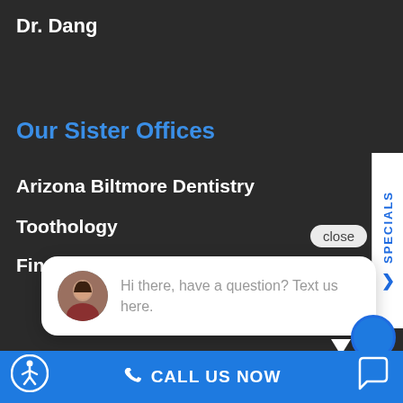Dr. Dang
Our Sister Offices
Arizona Biltmore Dentistry
Toothology
Find Us On The Web
close
Hi there, have a question? Text us here.
CALL US NOW
[Figure (screenshot): SPECIALS > vertical tab on right side]
[Figure (photo): Circular avatar of a woman with dark hair]
[Figure (illustration): Accessibility icon (wheelchair person in circle) in white on blue]
[Figure (illustration): Chat bubble icon in white]